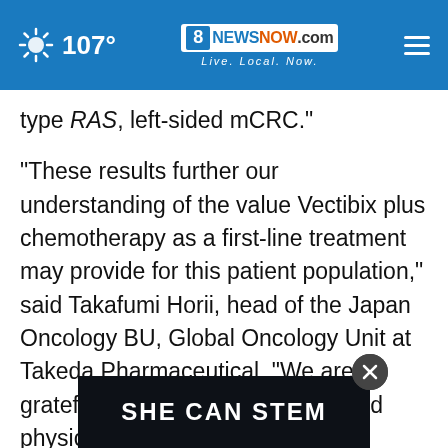107° 8NewsNow.com Live. Local. Now.
type RAS, left-sided mCRC."
"These results further our understanding of the value Vectibix plus chemotherapy as a first-line treatment may provide for this patient population," said Takafumi Horii, head of the Japan Oncology BU, Global Oncology Unit at Takeda Pharmaceutical. "We are grateful to the patients, families and physicians in Japan who have contributed to this trial as we strive to deliver ... with unmet needs around the world."
[Figure (other): SHE CAN STEM advertisement overlay banner with close button]